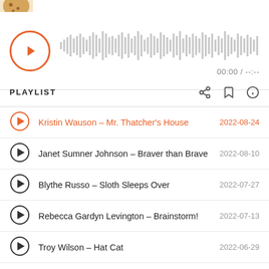[Figure (screenshot): Audio player with orange play button and waveform visualization showing 00:00 / --:--]
PLAYLIST
Kristin Wauson – Mr. Thatcher's House  2022-08-24
Janet Sumner Johnson – Braver than Brave  2022-08-10
Blythe Russo – Sloth Sleeps Over  2022-07-27
Rebecca Gardyn Levington – Brainstorm!  2022-07-13
Troy Wilson – Hat Cat  2022-06-29
Jyoti Rajan Gopal – American Desi  2022-06-15